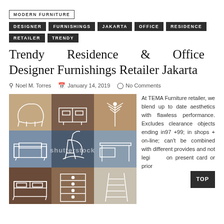MODERN FURNITURE
DESIGNER | FURNISHINGS | JAKARTA | OFFICE | RESIDENCE | RETAILER | TRENDY
Trendy Residence & Office Designer Furnishings Retailer Jakarta
Noel M. Torres  January 14, 2019  No Comments
[Figure (illustration): A 3x3 grid of furniture icons on colored backgrounds (tan, brown, blue, navy, gray, beige) showing: lounge chair, sideboard, coat rack, sofa, rocking chair, desk, bed, dresser, bookshelf ladder. Shutterstock watermark visible.]
At TEMA Furniture retailer, we blend up to date aesthetics with flawless performance. Excludes clearance objects ending in97 +99; in shops + online; can't be combined with different provides and not legi on present card or prior